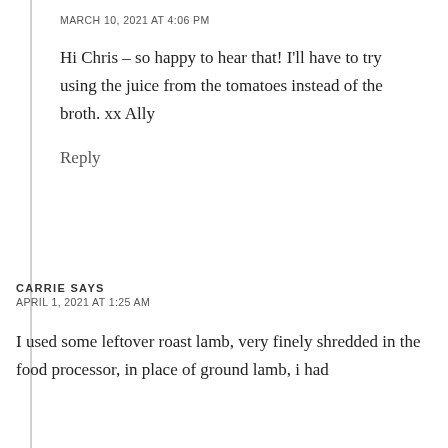MARCH 10, 2021 AT 4:06 PM
Hi Chris – so happy to hear that! I'll have to try using the juice from the tomatoes instead of the broth. xx Ally
Reply
CARRIE SAYS
APRIL 1, 2021 AT 1:25 AM
I used some leftover roast lamb, very finely shredded in the food processor, in place of ground lamb, i had